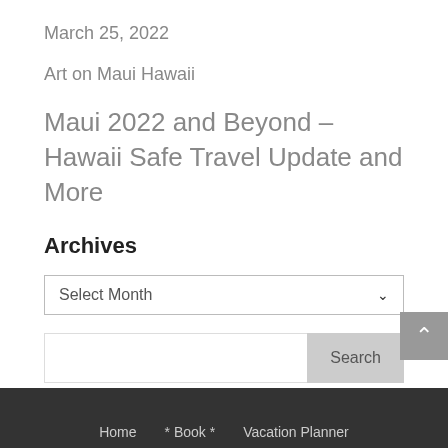March 25, 2022
Art on Maui Hawaii
Maui 2022 and Beyond – Hawaii Safe Travel Update and More
Archives
Select Month
Search
Home   * Book *   Vacation Planner